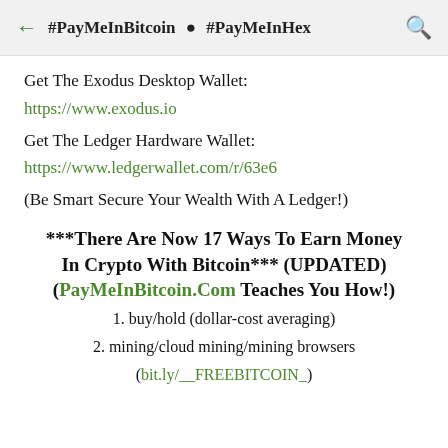← #PayMeInBitcoin ● #PayMeInHex 🔍
Get The Exodus Desktop Wallet:
https://www.exodus.io
Get The Ledger Hardware Wallet:
https://www.ledgerwallet.com/r/63e6
(Be Smart Secure Your Wealth With A Ledger!)
***There Are Now 17 Ways To Earn Money In Crypto With Bitcoin*** (UPDATED) (PayMeInBitcoin.Com Teaches You How!)
1. buy/hold (dollar-cost averaging)
2. mining/cloud mining/mining browsers
(bit.ly/__FREEBITCOIN_)